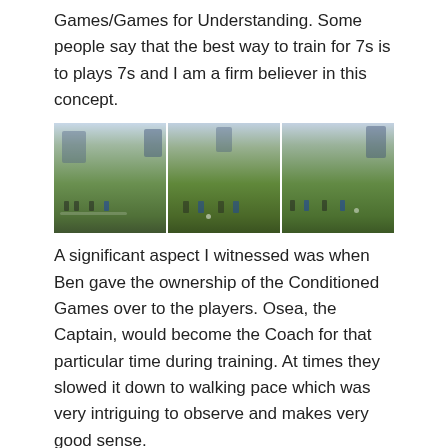Games/Games for Understanding. Some people say that the best way to train for 7s is to plays 7s and I am a firm believer in this concept.
[Figure (photo): Three panoramic photos side by side showing players training on a grass field with buildings and trees visible in the background.]
A significant aspect I witnessed was when Ben gave the ownership of the Conditioned Games over to the players. Osea, the Captain, would become the Coach for that particular time during training. At times they slowed it down to walking pace which was very intriguing to observe and makes very good sense.
Recovery
They would use a whole variety of modalities for Recovery depending on what training/travel had been done prior to their recovery session.
One thing that I did notice at the end of every training session